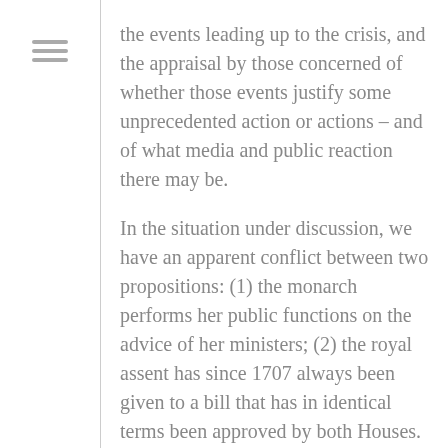the events leading up to the crisis, and the appraisal by those concerned of whether those events justify some unprecedented action or actions – and of what media and public reaction there may be. In the situation under discussion, we have an apparent conflict between two propositions: (1) the monarch performs her public functions on the advice of her ministers; (2) the royal assent has since 1707 always been given to a bill that has in identical terms been approved by both Houses. I am not persuaded that the second statement can be given the binding content that Nick Barber suggests. I